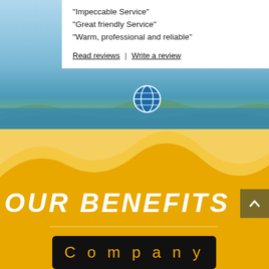“Impeccable Service”
“Great friendly Service”
“Warm, professional and reliable”
Read reviews | Write a review
[Figure (photo): Coastal landscape with blue sea and hills in the background, parasailer visible in the sky]
OUR BENEFITS
Company